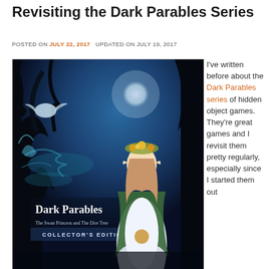Revisiting the Dark Parables Series
POSTED ON JULY 22, 2017   UPDATED ON JULY 19, 2017
[Figure (photo): Promotional image for the Dark Parables game 'The Swan Princess and The Dire Tree - Collector's Edition', showing a fantasy princess character with a floral crown in a dark mystical forest setting with a moon in the background.]
Promotional image for The Swan Princess and the Dire Tree
I've written before about the Dark Parables series of hidden object games. They're great games and I revisit them pretty regularly, especially since I started them out
Privacy & Cookies: This site uses cookies. By continuing to use this website, you agree to their use.
To find out more, including how to control cookies, see here: Cookie Policy
Close and accept